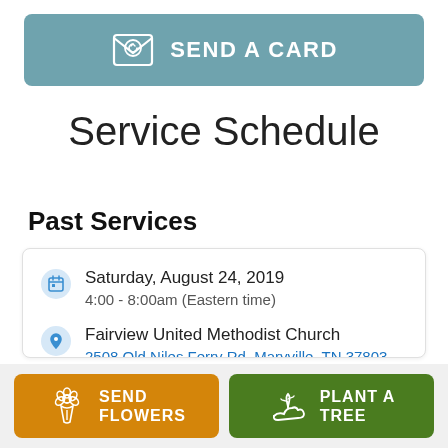[Figure (infographic): Send a Card button with greeting card icon on teal/slate blue background]
Service Schedule
Past Services
Saturday, August 24, 2019
4:00 - 8:00am (Eastern time)
Fairview United Methodist Church
2508 Old Niles Ferry Rd, Maryville, TN 37803
[Figure (infographic): Send Flowers button with flower bouquet icon on orange background, and Plant a Tree button with seedling/hand icon on green background]